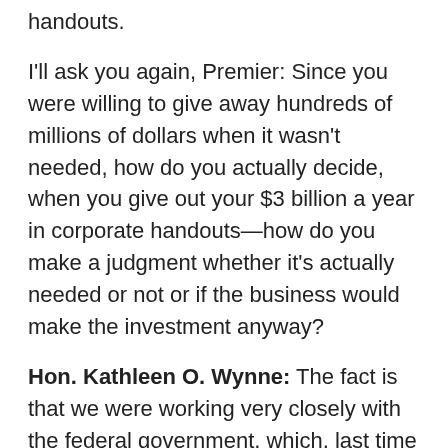handouts.
I'll ask you again, Premier: Since you were willing to give away hundreds of millions of dollars when it wasn't needed, how do you actually decide, when you give out your $3 billion a year in corporate handouts—how do you make a judgment whether it's actually needed or not or if the business would make the investment anyway?
Hon. Kathleen O. Wynne: The fact is that we were working very closely with the federal government, which, last time I checked, was a Conservative government—friends of the Leader of the Opposition. They seem to understand that it's very important that all levels of government work with business, particularly the auto sector, not just this company, not just Chrysler, but with the auto sector in general, to make sure that the conditions are in place to bring jobs to Ontario, keep the jobs that are here and, more importantly, secure a future footprint for the auto sector in the province. That's the piece that the Leader of the Opposition does not